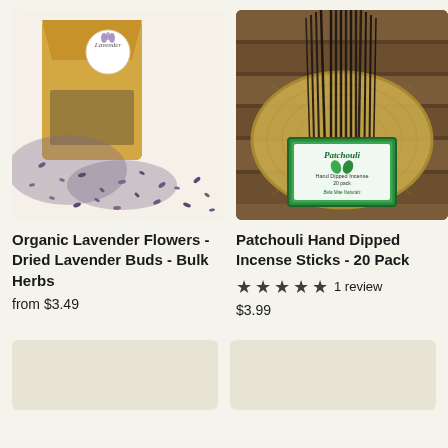[Figure (photo): Photo of a gold kraft paper bag labeled 'Lavender' with a circular sticker, surrounded by dried lavender buds/flowers spilling out onto a white surface.]
[Figure (photo): Photo of dark incense sticks bundled together on a woven wooden disk, with a green product label reading 'Patchouli Hand Dipped Incense 20 pack Bela Mae Naturals' on a wood-plank background.]
Organic Lavender Flowers - Dried Lavender Buds - Bulk Herbs
from $3.49
Patchouli Hand Dipped Incense Sticks - 20 Pack
1 review
$3.99